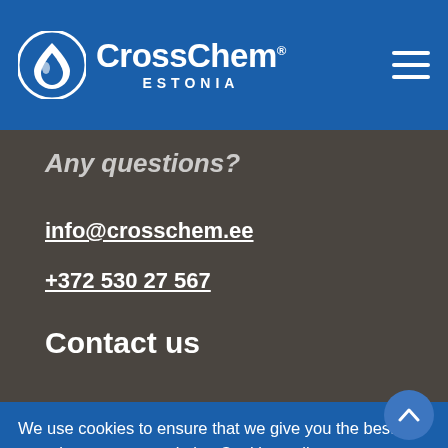CrossChem ESTONIA
Any questions?
info@crosschem.ee
+372 530 27 567
Contact us
We use cookies to ensure that we give you the best experience on our website. Cookies policy